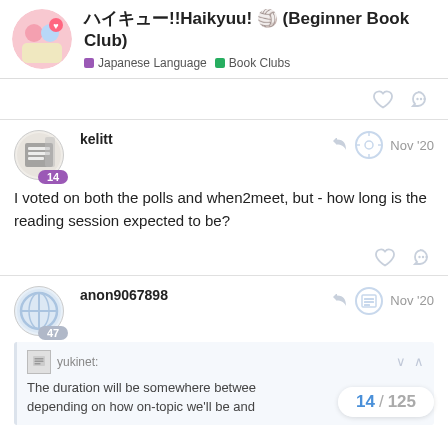ハイキュー!!Haikyuu! (Beginner Book Club) — Japanese Language | Book Clubs
I voted on both the polls and when2meet, but - how long is the reading session expected to be?
anon9067898 — Nov '20
yukinet: The duration will be somewhere between... depending on how on-topic we'll be and